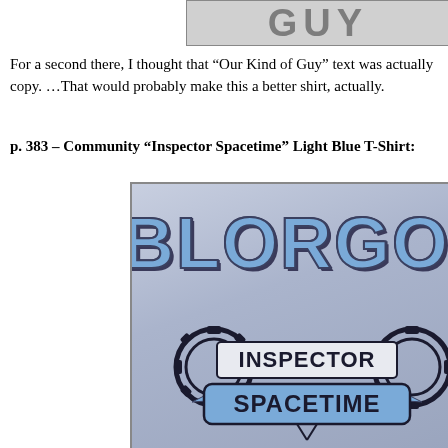[Figure (photo): Partial image showing text 'GUY' in large stylized letters on a shirt, cropped at top of page]
For a second there, I thought that “Our Kind of Guy” text was actually copy. …That would probably make this a better shirt, actually.
p. 383 – Community “Inspector Spacetime” Light Blue T-Shirt:
[Figure (photo): Photo of a person wearing a light blue t-shirt with 'BLORGON' text at top and 'INSPECTOR SPACETIME' logo badge in center, from the TV show Community]